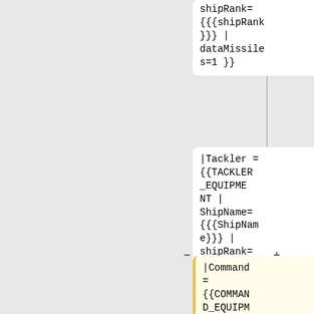shipRank={{{shipRank}}} | dataMissiles=1 }}
shipRank={{{shipRank}}} | dataMissiles=1 }}
|Tackler = {{TACKLER_EQUIPMENT | ShipName={{{ShipName}}} | shipRank={{{shipRank}}} | dataMissiles=1 }}
|Tackler = {{TACKLER_EQUIPMENT | ShipName={{{ShipName}}} | shipRank={{{shipRank}}} | dataMissiles=1 }}
|Command = {{COMMAND_EQUIPMENT | ShipName={{{ShipName}}} |
|Command = {{COMMAND_EQUIPMENT | ShipName={{{ShipName}}} |